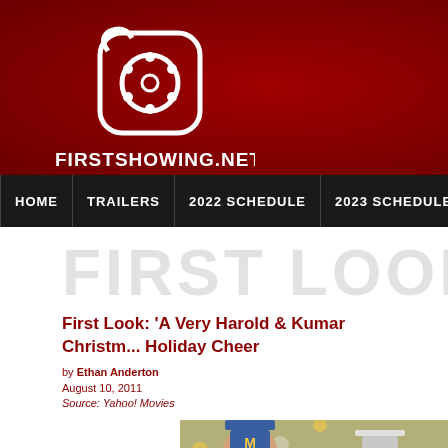[Figure (logo): FirstShowing.net website header with red background, film reel logo icon, and FIRSTSHOWING.NET text in white bold letters]
HOME | TRAILERS | 2022 SCHEDULE | 2023 SCHEDULE | SHO...
FIRST LOOK
First Look: 'A Very Harold & Kumar Christmas' Spreads Holiday Cheer
by Ethan Anderton
August 10, 2011
Source: Yahoo! Movies
[Figure (photo): Two actors in costume with marching band attire and top hat in front of Christmas tree decorations]